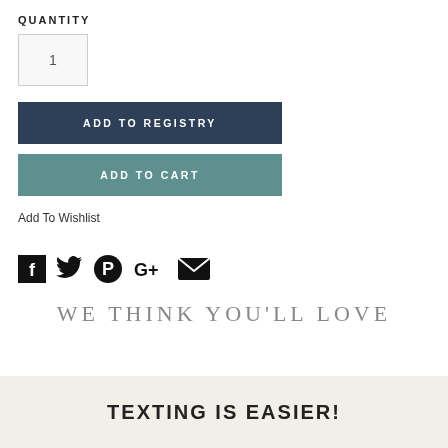QUANTITY
1
ADD TO REGISTRY
ADD TO CART
Add To Wishlist
[Figure (infographic): Social share icons: Facebook, Twitter, Pinterest, Google+, Email]
WE THINK YOU'LL LOVE
TEXTING IS EASIER!